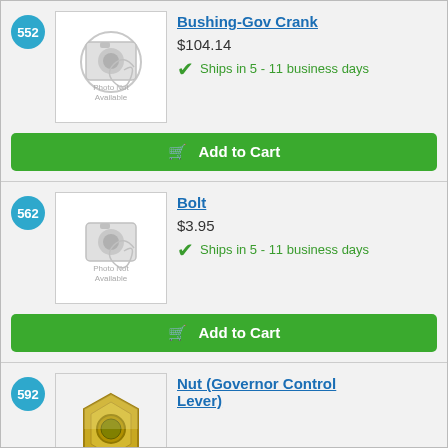552
[Figure (photo): Photo Not Available placeholder image for Bushing-Gov Crank]
Bushing-Gov Crank
$104.14
Ships in 5 - 11 business days
Add to Cart
562
[Figure (photo): Photo Not Available placeholder image for Bolt]
Bolt
$3.95
Ships in 5 - 11 business days
Add to Cart
592
[Figure (photo): Photo of a nut for Nut (Governor Control Lever)]
Nut (Governor Control Lever)